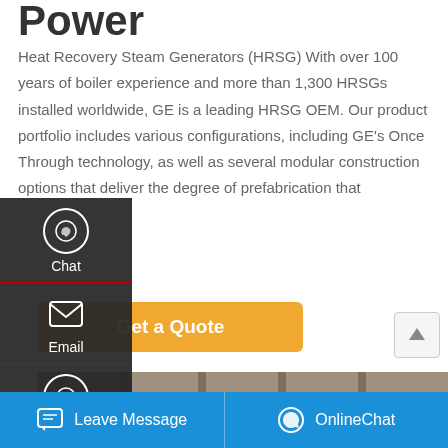Power
Heat Recovery Steam Generators (HRSG) With over 100 years of boiler experience and more than 1,300 HRSGs installed worldwide, GE is a leading HRSG OEM. Our product portfolio includes various configurations, including GE's Once Through technology, as well as several modular construction options that deliver the degree of prefabrication that
[Figure (screenshot): Get a Quote button in golden/amber color]
[Figure (photo): Industrial HRSG equipment photo showing pipes and structural components]
[Figure (screenshot): Left sidebar overlay with Chat, Email, and Contact icons on dark background]
[Figure (screenshot): Bottom blue bar with Leave Message and OnlineChat buttons]